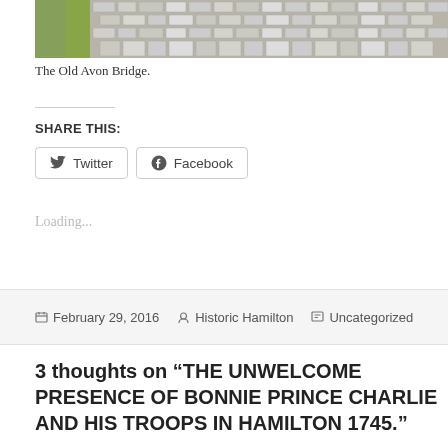[Figure (photo): Aerial/close-up view of the Old Avon Bridge cobblestone surface with green moss/grass at the left edge]
The Old Avon Bridge.
SHARE THIS:
Twitter  Facebook
Loading...
February 29, 2016  Historic Hamilton  Uncategorized
3 thoughts on “THE UNWELCOME PRESENCE OF BONNIE PRINCE CHARLIE AND HIS TROOPS IN HAMILTON 1745.”